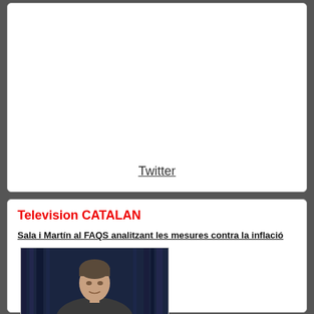[Figure (screenshot): White card area with Twitter link at the bottom center]
Twitter
Television CATALAN
Sala i Martín al FAQS analitzant les mesures contra la inflació
[Figure (photo): Photo of a man on a TV set with dark blue background, appears to be a TV interview or program]